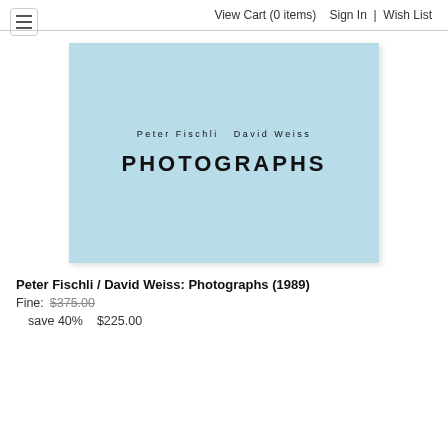View Cart (0 items)   Sign In  |  Wish List
[Figure (illustration): Book cover of 'Peter Fischli David Weiss: Photographs' — light blue cover with author names in small spaced caps and title PHOTOGRAPHS in large bold letters]
Peter Fischli / David Weiss: Photographs (1989)
Fine: $375.00
save 40%   $225.00